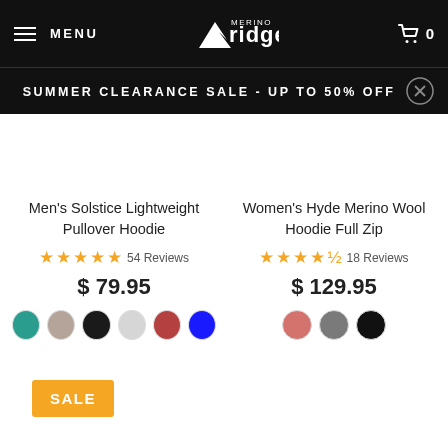MENU | Merino Ridge | Cart 0
SUMMER CLEARANCE SALE - UP TO 50% OFF
Men's Solstice Lightweight Pullover Hoodie — ★★★★★ 54 Reviews — $ 79.95 — Colors: teal, tan, black, light gray, red, blue
Women's Hyde Merino Wool Hoodie Full Zip — ★★★★½ 18 Reviews — $ 129.95 — Colors: pink, gray, black
SALE